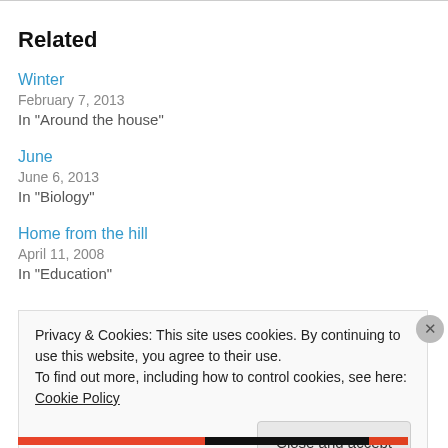Related
Winter
February 7, 2013
In "Around the house"
June
June 6, 2013
In "Biology"
Home from the hill
April 11, 2008
In "Education"
Privacy & Cookies: This site uses cookies. By continuing to use this website, you agree to their use.
To find out more, including how to control cookies, see here: Cookie Policy
Close and accept